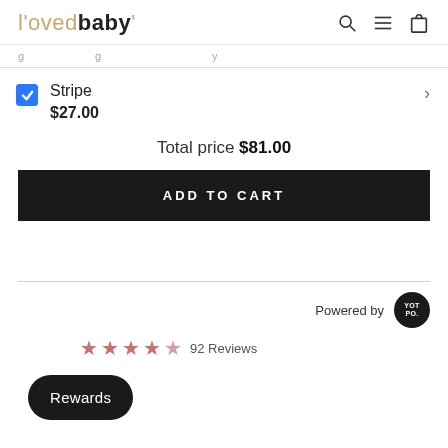L'ovedbaby
Stripe  $27.00
Total price $81.00
ADD TO CART
Powered by YOTPO
92 Reviews